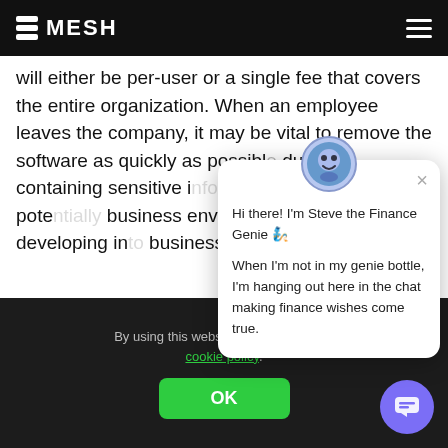MESH
will either be per-user or a single fee that covers the entire organization. When an employee leaves the company, it may be vital to remove the software as quickly as possible due to it containing sensitive i... different factors pote... business environmen... hastily developing in... business leaders.
[Figure (screenshot): Chat popup from Steve the Finance Genie chatbot with message: Hi there! I'm Steve the Finance Genie. When I'm not in my genie bottle, I'm hanging out here in the chat making finance wishes come true.]
By using this website you agree to our cookie policy. OK